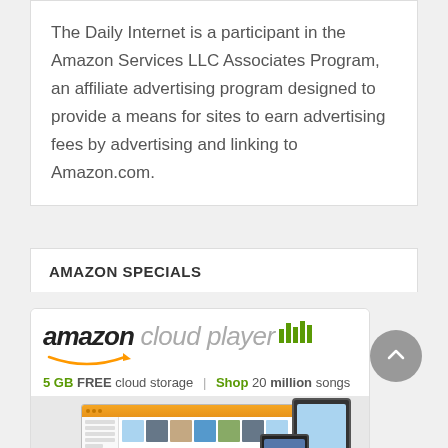The Daily Internet is a participant in the Amazon Services LLC Associates Program, an affiliate advertising program designed to provide a means for sites to earn advertising fees by advertising and linking to Amazon.com.
AMAZON SPECIALS
[Figure (screenshot): Amazon Cloud Player advertisement showing logo with equalizer icon, tagline '5 GB FREE cloud storage | Shop 20 million songs', and screenshot of the Amazon Cloud Player web interface on desktop, tablet, and phone devices with green swoosh decorations at the bottom.]